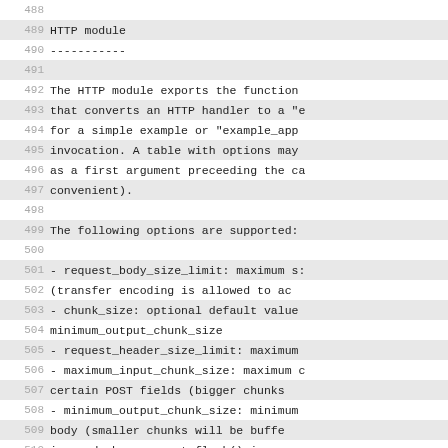488
HTTP module
----------
491
The HTTP module exports the function that converts an HTTP handler to a "e for a simple example or "example_app invocation. A table with options may as a first argument preceeding the ca convenient).
498
The following options are supported:
500
- request_body_size_limit: maximum s: (transfer encoding is allowed to ac
- chunk_size: optional default value minimum_output_chunk_size
- request_header_size_limit: maximum
- maximum_input_chunk_size: maximum c certain POST fields (bigger chunks
- minimum_output_chunk_size: minimum body (smaller chunks will be buffe ignored when request:flush() is ca
- static_headers: a set of headers t (may be a string, a table or strin
513
The callback function receives a sin described below.